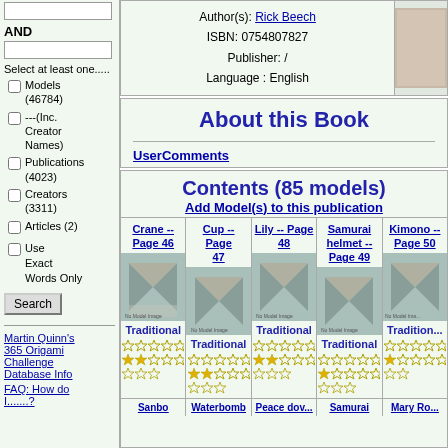AND
Select at least one.....
Models (46784)
---(Inc. Creator Names)
Publications (4023)
Creators (3311)
Articles (2)
Use Exact Words Only
Search
Martin Quinn's 365 Origami Challenge Database Info
FAQ: How do I.......?
Author(s): Rick Beech
ISBN: 0754807827
Publisher: /
Language : English
About this Book
UserComments
Contents (85 models)
Add Model(s) to this publication
Crane -- Page 46
Cup -- Page 47
Lily -- Page 48
Samurai helmet -- Page 49
Kimono -- Page 50
Traditional
Traditional
Traditional
Traditional
Traditional
Sanbo
Waterbomb
Peace dove
Samurai
Mary Ro...